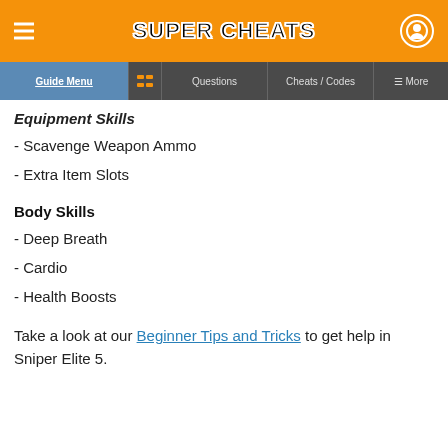Super Cheats
Guide Menu | Questions | Cheats / Codes | More
Equipment Skills
- Scavenge Weapon Ammo
- Extra Item Slots
Body Skills
- Deep Breath
- Cardio
- Health Boosts
Take a look at our Beginner Tips and Tricks to get help in Sniper Elite 5.